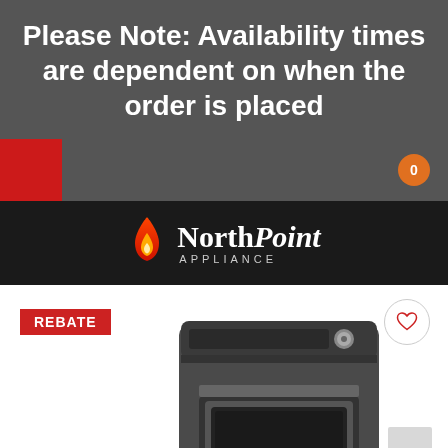Please Note: Availability times are dependent on when the order is placed
[Figure (logo): NorthPoint Appliance logo with flame icon on black background]
REBATE
[Figure (photo): LG top-load washer or dryer appliance in dark graphite/black color, front view showing control panel and door]